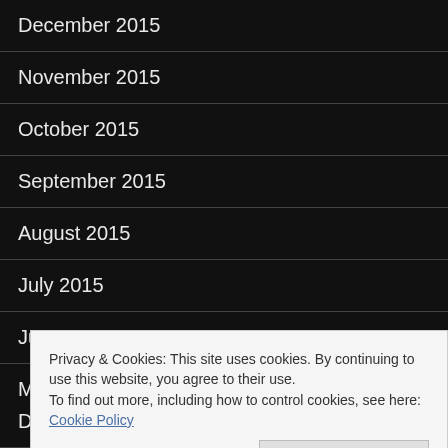December 2015
November 2015
October 2015
September 2015
August 2015
July 2015
June 2015
May 2015
April 2015
Privacy & Cookies: This site uses cookies. By continuing to use this website, you agree to their use.
To find out more, including how to control cookies, see here: Cookie Policy
December 2014